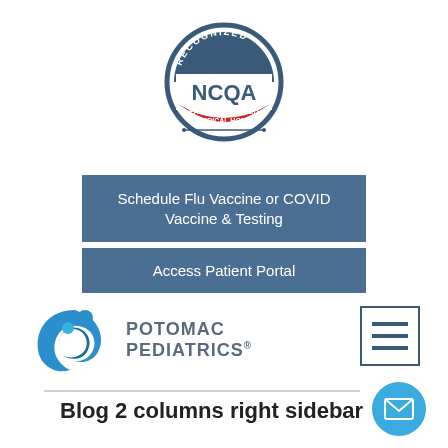[Figure (logo): NCQA Recognized Patient-Centered Medical Home circular badge with blue border, NCQA text in center, red arc at bottom with 'PATIENT-CENTERED MEDICAL HOME' text]
Schedule Flu Vaccine or COVID Vaccine & Testing
Access Patient Portal
[Figure (logo): Potomac Pediatrics logo with blue swirling figures and company name in gray uppercase letters]
[Figure (other): Hamburger menu icon - three horizontal lines inside a square border]
Blog 2 columns right sidebar
[Figure (other): Blue circular email/envelope button in bottom right corner]